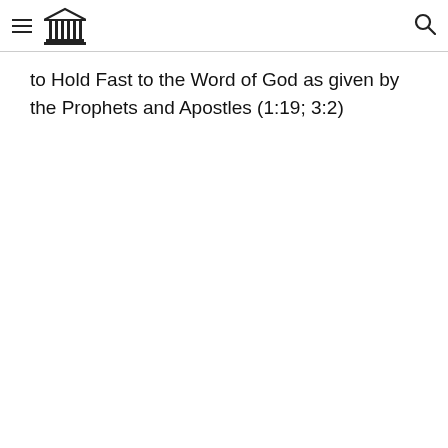[menu icon] [institution icon] [search icon]
to Hold Fast to the Word of God as given by the Prophets and Apostles (1:19; 3:2)